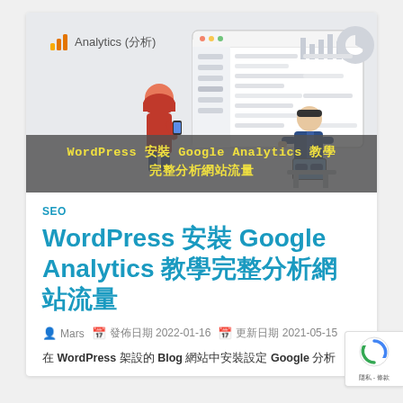[Figure (screenshot): Google Analytics interface screenshot with illustrated figures of people analyzing data, showing analytics dashboard UI elements including charts, bar graphs, and pie chart icons. The Google Analytics logo and text 'Analytics (分析)' appear in the top left.]
WordPress 安裝 Google Analytics 教學 完整分析網站流量
SEO
WordPress 安裝 Google Analytics 教學完整分析網站流量
Mars  發佈日期 2022-01-16  更新日期 2021-05-15
在 WordPress 架設的 Blog 網站中安裝設定 Google 分析